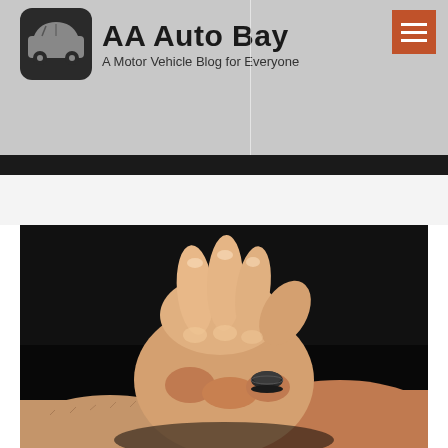AA Auto Bay — A Motor Vehicle Blog for Everyone
[Figure (photo): Close-up photograph of two clasped male hands with a dark ring on one finger, against a black background]